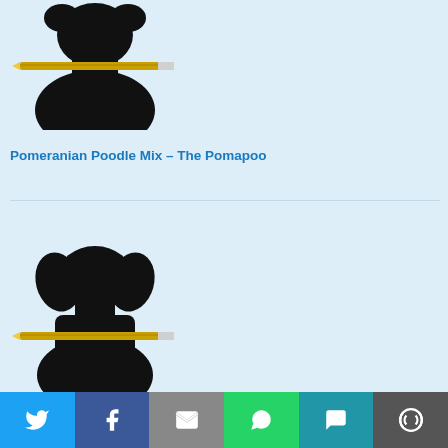[Figure (photo): Black silhouette of a dog (Pomeranian Poodle mix) holding a pencil in its mouth, cropped view showing head and upper body]
Pomeranian Poodle Mix – The Pomapoo
[Figure (photo): Black silhouette of a dog (Pug Beagle mix) holding a pencil in its mouth, showing full frontal view with floppy ears]
Pug Beagle Mix – The Puggle
[Figure (infographic): Social share bar with Twitter, Facebook, Email, WhatsApp, SMS, and More buttons]